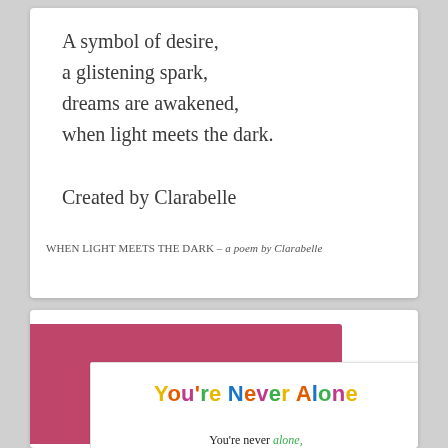A symbol of desire,
a glistening spark,
dreams are awakened,
when light meets the dark.
Created by Clarabelle
WHEN LIGHT MEETS THE DARK – a poem by Clarabelle
[Figure (illustration): A greeting card with colorful decorative text reading 'You're Never Alone' in multicolored playful lettering, shown with a pink/magenta envelope behind it. Below the title text is the beginning of a poem: 'You're never alone,']